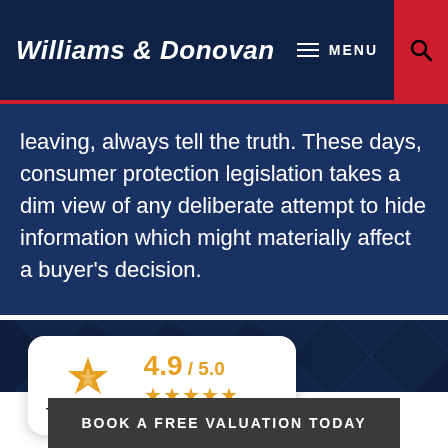Williams & Donovan
leaving, always tell the truth. These days, consumer protection legislation takes a dim view of any deliberate attempt to hide information which might materially affect a buyer's decision.
[Figure (logo): Trustist review badge showing 4.9/5.0 rating with 5 stars and 781 Customer Reviews]
BOOK A FREE VALUATION TODAY